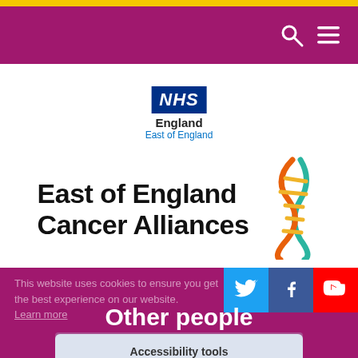[Figure (logo): Yellow top bar]
Navigation bar with search and menu icons
[Figure (logo): NHS England East of England logo]
East of England Cancer Alliances
[Figure (logo): DNA double helix icon in orange, teal and gold]
[Figure (logo): Social media buttons: Twitter, Facebook, YouTube]
This website uses cookies to ensure you get the best experience on our website. Learn more
Other people
Got it!
Accessibility tools